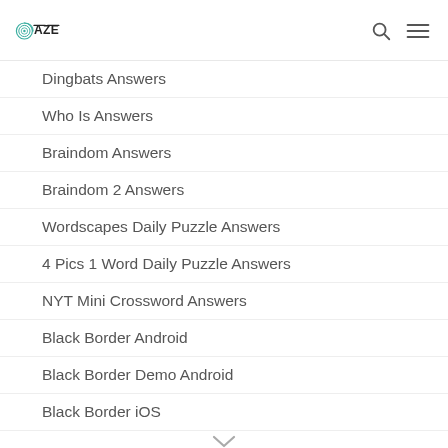DAZE
Dingbats Answers
Who Is Answers
Braindom Answers
Braindom 2 Answers
Wordscapes Daily Puzzle Answers
4 Pics 1 Word Daily Puzzle Answers
NYT Mini Crossword Answers
Black Border Android
Black Border Demo Android
Black Border iOS